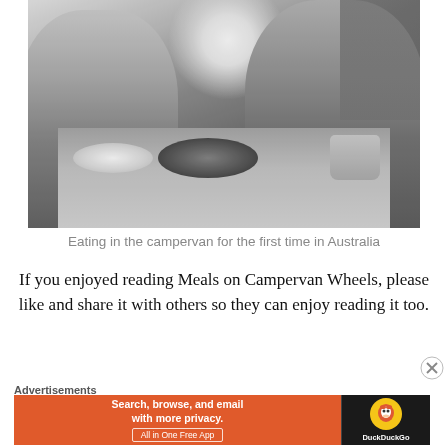[Figure (photo): Black and white photograph of two people (a woman on the left and a man on the right) sitting at a table inside a campervan, smiling, with a frying pan, plates, and a cup on the table between them.]
Eating in the campervan for the first time in Australia
If you enjoyed reading Meals on Campervan Wheels, please like and share it with others so they can enjoy reading it too.
Advertisements
[Figure (screenshot): DuckDuckGo advertisement banner with orange background on the left side reading 'Search, browse, and email with more privacy. All in One Free App' and the DuckDuckGo logo on a dark right side.]